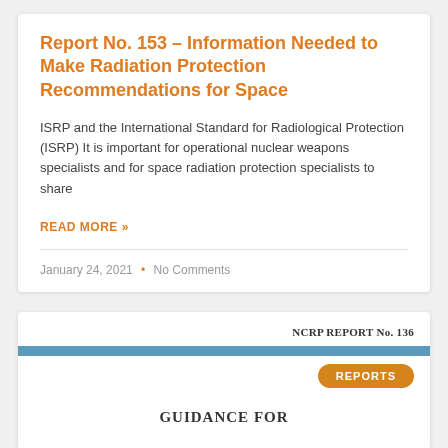Report No. 153 – Information Needed to Make Radiation Protection Recommendations for Space
ISRP and the International Standard for Radiological Protection (ISRP) It is important for operational nuclear weapons specialists and for space radiation protection specialists to share
READ MORE »
January 24, 2021  •  No Comments
NCRP REPORT No. 136
REPORTS
GUIDANCE FOR